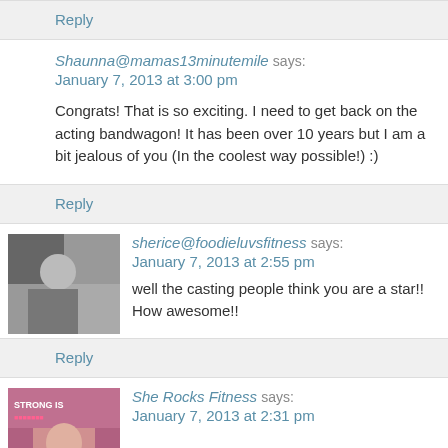Reply
Shaunna@mamas13minutemile says:
January 7, 2013 at 3:00 pm
Congrats! That is so exciting. I need to get back on the acting bandwagon! It has been over 10 years but I am a bit jealous of you (In the coolest way possible!) :)
Reply
sherice@foodieluvsfitness says:
January 7, 2013 at 2:55 pm
well the casting people think you are a star!! How awesome!!
Reply
She Rocks Fitness says:
January 7, 2013 at 2:31 pm